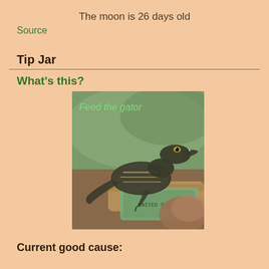The moon is 26 days old
Source
Tip Jar
What's this?
[Figure (photo): A small baby alligator/crocodile sitting on a rolled-up dollar bill and bark/wood, with green italic text overlay reading 'Feed the gator']
Current good cause: